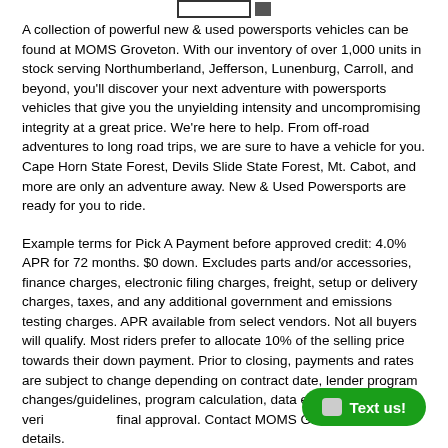[navigation bar with search box and button]
A collection of powerful new & used powersports vehicles can be found at MOMS Groveton. With our inventory of over 1,000 units in stock serving Northumberland, Jefferson, Lunenburg, Carroll, and beyond, you'll discover your next adventure with powersports vehicles that give you the unyielding intensity and uncompromising integrity at a great price. We're here to help. From off-road adventures to long road trips, we are sure to have a vehicle for you. Cape Horn State Forest, Devils Slide State Forest, Mt. Cabot, and more are only an adventure away. New & Used Powersports are ready for you to ride.
Example terms for Pick A Payment before approved credit: 4.0% APR for 72 months. $0 down. Excludes parts and/or accessories, finance charges, electronic filing charges, freight, setup or delivery charges, taxes, and any additional government and emissions testing charges. APR available from select vendors. Not all buyers will qualify. Most riders prefer to allocate 10% of the selling price towards their down payment. Prior to closing, payments and rates are subject to change depending on contract date, lender program changes/guidelines, program calculation, data errors, credit veri... final approval. Contact MOMS Groveton fo... details.